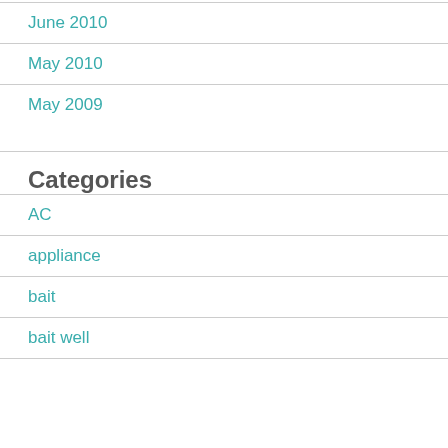June 2010
May 2010
May 2009
Categories
AC
appliance
bait
bait well